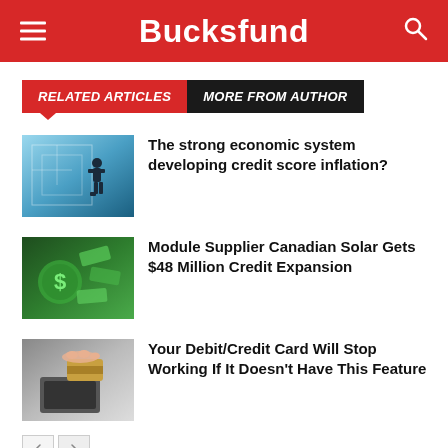Bucksfund
RELATED ARTICLES | MORE FROM AUTHOR
[Figure (photo): Person standing at a maze/puzzle viewed from above, blue financial themed background]
The strong economic system developing credit score inflation?
[Figure (photo): Dollar signs and money bills on green background]
Module Supplier Canadian Solar Gets $48 Million Credit Expansion
[Figure (photo): Hand inserting credit/debit card into a card reader terminal]
Your Debit/Credit Card Will Stop Working If It Doesn't Have This Feature